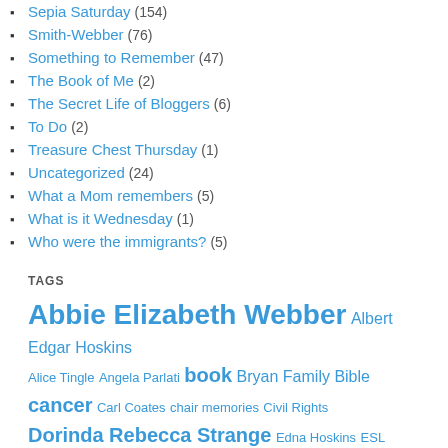Sepia Saturday (154)
Smith-Webber (76)
Something to Remember (47)
The Book of Me (2)
The Secret Life of Bloggers (6)
To Do (2)
Treasure Chest Thursday (1)
Uncategorized (24)
What a Mom remembers (5)
What is it Wednesday (1)
Who were the immigrants? (5)
TAGS
Abbie Elizabeth Webber Albert Edgar Hoskins Alice Tingle Angela Parlati book Bryan Family Bible cancer Carl Coates chair memories Civil Rights Dorinda Rebecca Strange Edna Hoskins ESL Ethel Hoskins Eveline Coates